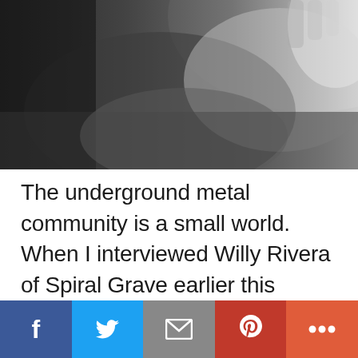[Figure (photo): Black and white close-up photograph of a person's face/jaw area, looking slightly upward, with light coming from behind]
The underground metal community is a small world.  When I interviewed Willy Rivera of Spiral Grave earlier this summer, he talked at length about a documentary called he was involved in that spotlighted musicians' mental health; Rivera also mentioned that the filmmaker had made a previous documentary about the (at times, contentious) relationship
[Figure (infographic): Social sharing bar with icons for Facebook, Twitter, Email, Pinterest, and More]